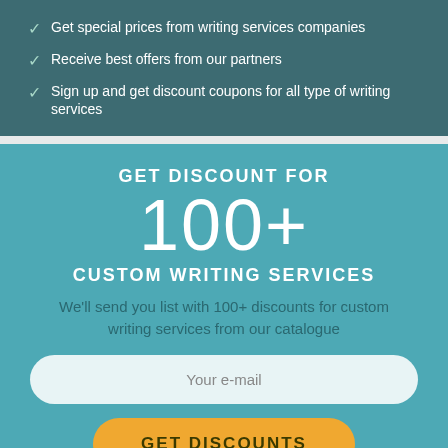Get special prices from writing services companies
Receive best offers from our partners
Sign up and get discount coupons for all type of writing services
GET DISCOUNT FOR 100+ CUSTOM WRITING SERVICES
We'll send you list with 100+ discounts for custom writing services from our catalogue
Your e-mail
GET DISCOUNTS